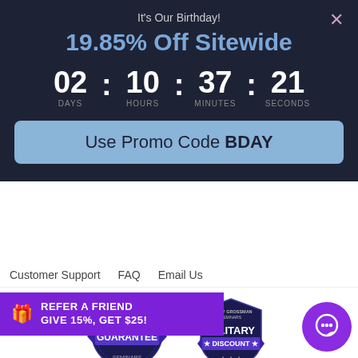It's Our Birthday!
19.85% Off Sitewide
02 : 10 : 37 : 21 DAYS HOURS MINUTES SECONDS
Use Promo Code BDAY
Customer Support   FAQ   Email Us
[Figure (logo): Gerry Grossman Seminars Guarantee badge/seal logo]
[Figure (logo): Gerry Grossman Seminars Military Discount shield badge logo]
Call Us: (310) 820-6322 | (800) 300-6322
7a-5p PT Monday-Friday | 8a-12p PT Saturday
REFER A FRIEND GIVE 15%, GET $25!
Privacy Policy | © Copyright 2...y Gerry Grossman Seminars. All rights reserved.